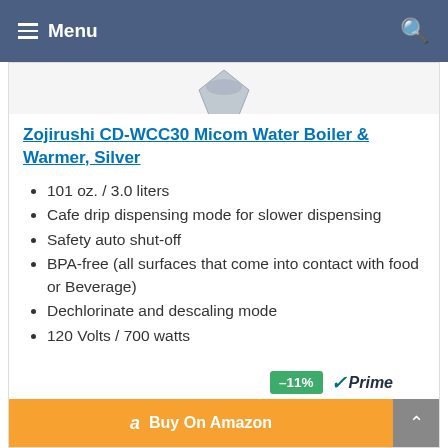Menu
[Figure (photo): Partial product image of Zojirushi water boiler visible at top of card]
Zojirushi CD-WCC30 Micom Water Boiler & Warmer, Silver
101 oz. / 3.0 liters
Cafe drip dispensing mode for slower dispensing
Safety auto shut-off
BPA-free (all surfaces that come into contact with food or Beverage)
Dechlorinate and descaling mode
120 Volts / 700 watts
–11%  Prime  Buy On Amazon